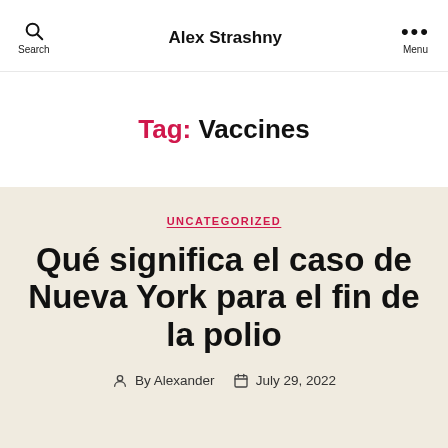Alex Strashny
Tag: Vaccines
UNCATEGORIZED
Qué significa el caso de Nueva York para el fin de la polio
By Alexander   July 29, 2022